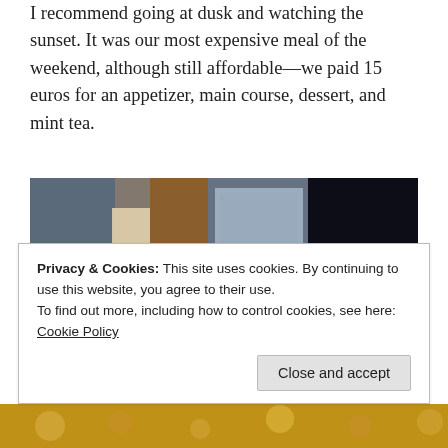I recommend going at dusk and watching the sunset. It was our most expensive meal of the weekend, although still affordable—we paid 15 euros for an appetizer, main course, dessert, and mint tea.
[Figure (photo): A dimly lit indoor scene showing wooden shelving or display case structure with glass panels in a market or restaurant setting, and a young girl in a red patterned top sitting in a dark doorway or nook on the right side of the image.]
Privacy & Cookies: This site uses cookies. By continuing to use this website, you agree to their use.
To find out more, including how to control cookies, see here: Cookie Policy
Close and accept